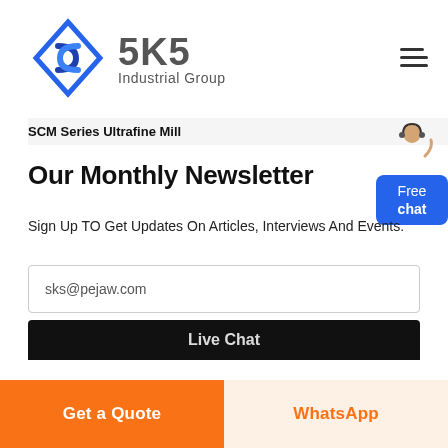[Figure (logo): SKS Industrial Group logo with blue diamond/arrow icon and gray SKS text with 'Industrial Group' subtitle]
SCM Series Ultrafine Mill
[Figure (illustration): Customer service person with headset and blue 'Free chat' button]
Our Monthly Newsletter
Sign Up TO Get Updates On Articles, Interviews And Events.
sks@pejaw.com
Live Chat
Get a Quote
WhatsApp